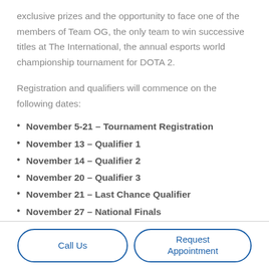exclusive prizes and the opportunity to face one of the members of Team OG, the only team to win successive titles at The International, the annual esports world championship tournament for DOTA 2.
Registration and qualifiers will commence on the following dates:
November 5-21 – Tournament Registration
November 13 – Qualifier 1
November 14 – Qualifier 2
November 20 – Qualifier 3
November 21 – Last Chance Qualifier
November 27 – National Finals
Call Us | Request Appointment